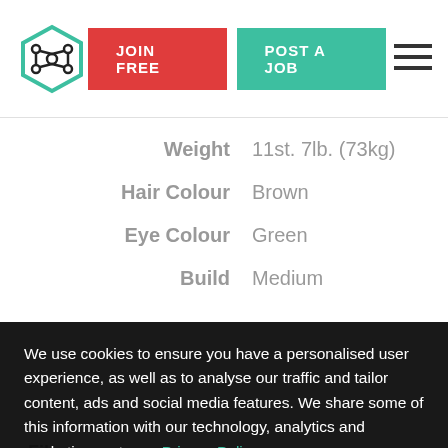JOIN FREE | POST A JOB
| Label | Value |
| --- | --- |
| Weight | 11st. 7lb. (73kg) |
| Hair Colour | Brown |
| Eye Colour | Green |
| Build | Medium |
Files
We use cookies to ensure you have a personalised user experience, as well as to analyse our traffic and tailor content, ads and social media features. We share some of this information with our technology, analytics and marketing partners. Privacy Policy
ACCEPT COOKIES